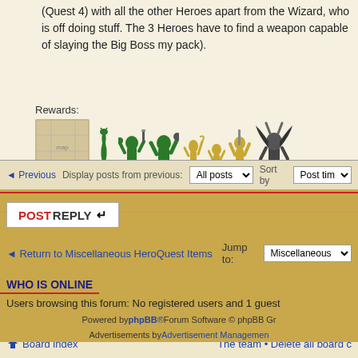(Quest 4) with all the other Heroes apart from the Wizard, who is off doing stuff. The 3 Heroes have to find a weapon capable of slaying the Big Boss my pack).
[Figure (photo): Game miniature figurines: a map tile, several green goblin/monster miniatures, and gold/dark hero miniatures]
Rewards:
◄ Previous   Display posts from previous: All posts ▼   Sort by Post time
POSTREPLY ↵
◄ Return to Miscellaneous HeroQuest Items   Jump to: Miscellaneous Hero
WHO IS ONLINE
Users browsing this forum: No registered users and 1 guest
Board index   The team • Delete all board c
Powered by phpBB® Forum Software © phpBB Gr   Advertisements by Advertisement Managemen